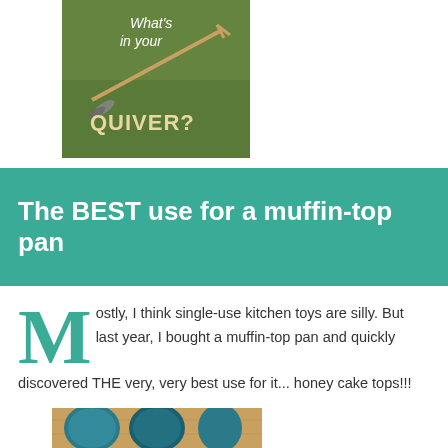[Figure (photo): Blog logo image with arrows and text reading 'What's in your QUIVER?' on a green background]
The BEST use for a muffin-top pan
Mostly, I think single-use kitchen toys are silly. But last year, I bought a muffin-top pan and quickly discovered THE very, very best use for it... honey cake tops!!!
[Figure (photo): Photo of honey cake tops in a muffin-top pan, circular golden-brown baked items viewed from above]